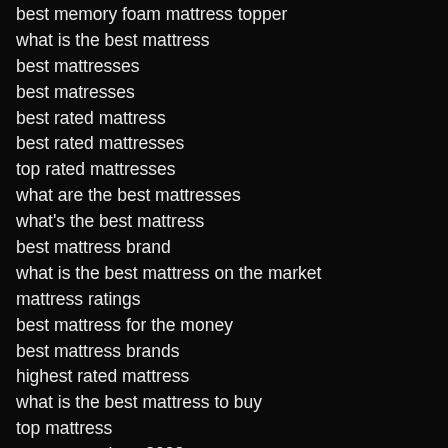best memory foam mattress topper
what is the best mattress
best mattresses
best matresses
best rated mattress
best rated mattresses
top rated mattresses
what are the best mattresses
what's the best mattress
best mattress brand
what is the best mattress on the market
mattress ratings
best mattress for the money
best mattress brands
highest rated mattress
what is the best mattress to buy
top mattress
mattress ratings 2022
best mattress reviews
best.mattress